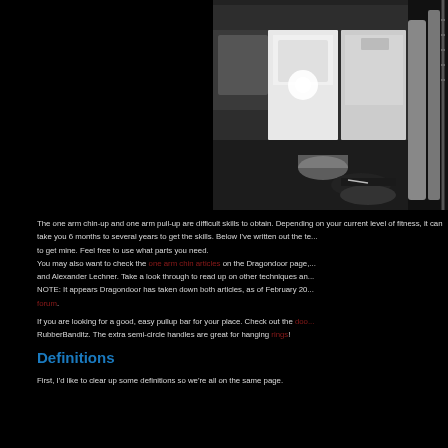[Figure (photo): Indoor basement/utility room photo showing white appliances (washer/dryer), concrete walls, pipes, and a bright light source on the floor. A chain is visible on the right side.]
The one arm chin-up and one arm pull-up are difficult skills to obtain. Depending on your current level of fitness, it can take you 6 months to several years to get the skills. Below I've written out the techniques that I used to get mine. Feel free to use what parts you need.
You may also want to check the one arm chin articles on the Dragondoor page, written by John Sapinoso and Alexander Lechner. Take a look through to read up on other techniques and views on training.
NOTE: It appears Dragondoor has taken down both articles, as of February 20... forum.

If you are looking for a good, easy pullup bar for your place. Check out the doo... RubberBanditz. The extra semi-circle handles are great for hanging rings!
Definitions
First, I'd like to clear up some definitions so we're all on the same page.